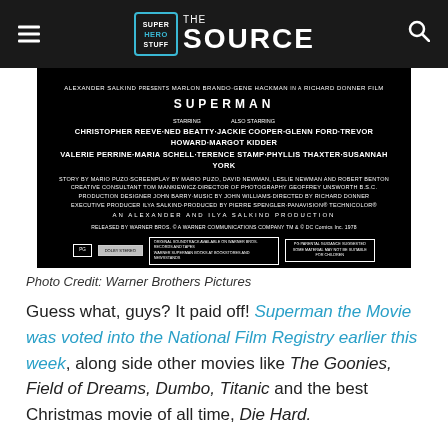Super Hero Stuff THE SOURCE
[Figure (photo): Black background movie title card for Superman the Movie (1978), showing credits: Alexander Salkind presents Marlon Brando, Gene Hackman in a Richard Donner Film - Superman. Starring Christopher Reeve, Ned Beatty, Jackie Cooper, Glenn Ford, Trevor Howard, Margot Kidder, Valerie Perrine, Maria Schell, Terence Stamp, Phyllis Thaxter, Susannah York. Story by Mario Puzo, Screenplay by Mario Puzo, David Newman, Leslie Newman and Robert Benton. Creative Consultant Tom Mankiewicz. Director of Photography Geoffrey Unsworth B.S.C. Production Designer John Barry. Music by John Williams. Directed by Richard Donner. Executive Producer Ilya Salkind. Produced by Pierre Spengler. An Alexander and Ilya Salkind Production. Released by Warner Bros. A Warner Communications Company.]
Photo Credit: Warner Brothers Pictures
Guess what, guys? It paid off! Superman the Movie was voted into the National Film Registry earlier this week, along side other movies like The Goonies, Field of Dreams, Dumbo, Titanic and the best Christmas movie of all time, Die Hard.
I want to thank each and every reader who took the time to get it into the National Film Registry. It means so much to me. I also